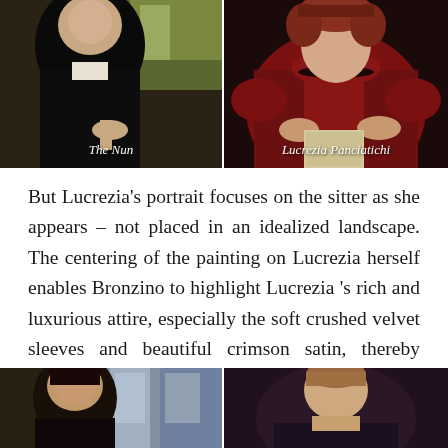[Figure (photo): Painting portrait of a woman in black dress, known as The Nun, with landscape background]
The Nun
[Figure (photo): Painting portrait of Lucrezia Panciatichi in red crimson dress with elaborate hairstyle]
Lucrezia Panciatichi
But Lucrezia's portrait focuses on the sitter as she appears – not placed in an idealized landscape. The centering of the painting on Lucrezia herself enables Bronzino to highlight Lucrezia 's rich and luxurious attire, especially the soft crushed velvet sleeves and beautiful crimson satin, thereby underlining the Panciatichi's wealth and prosperity.
[Figure (photo): Bottom left painting portrait - partial view of male figure]
[Figure (photo): Bottom right painting portrait - partial view of female figure]